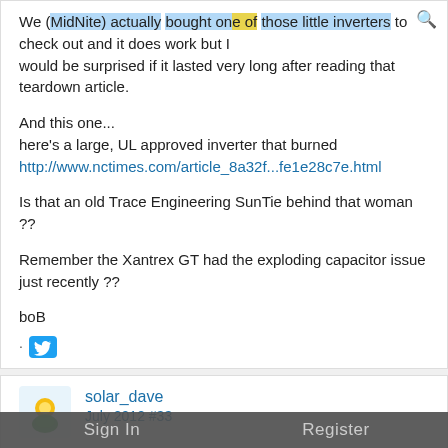We (MidNite) actually bought one of those little inverters to check out and it does work but I would be surprised if it lasted very long after reading that teardown article.

And this one...
here's a large, UL approved inverter that burned
http://www.nctimes.com/article_8a32f...fe1e28c7e.html

Is that an old Trace Engineering SunTie behind that woman ??

Remember the Xantrex GT had the exploding capacitor issue just recently ??

boB
solar_dave
July 2012 #33

Re: 250w grid tie inverters on E-bay
Sign In   Register